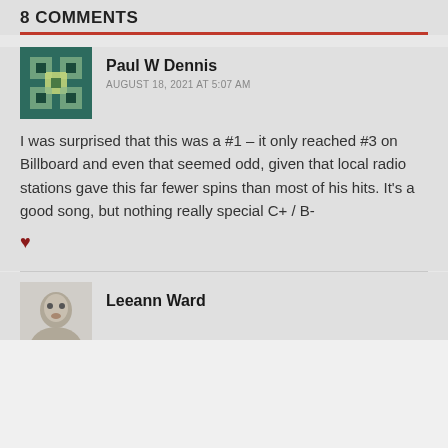8 COMMENTS
Paul W Dennis
AUGUST 18, 2021 AT 5:07 AM
I was surprised that this was a #1 – it only reached #3 on Billboard and even that seemed odd, given that local radio stations gave this far fewer spins than most of his hits. It's a good song, but nothing really special C+ / B-
♥
Leeann Ward